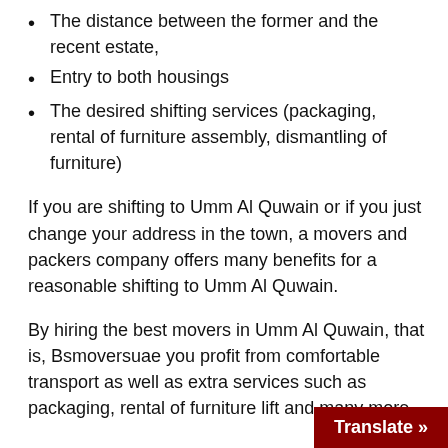The distance between the former and the recent estate,
Entry to both housings
The desired shifting services (packaging, rental of furniture assembly, dismantling of furniture)
If you are shifting to Umm Al Quwain or if you just change your address in the town, a movers and packers company offers many benefits for a reasonable shifting to Umm Al Quwain.
By hiring the best movers in Umm Al Quwain, that is, Bsmoversuae you profit from comfortable transport as well as extra services such as packaging, rental of furniture lift and many more.
Translate »